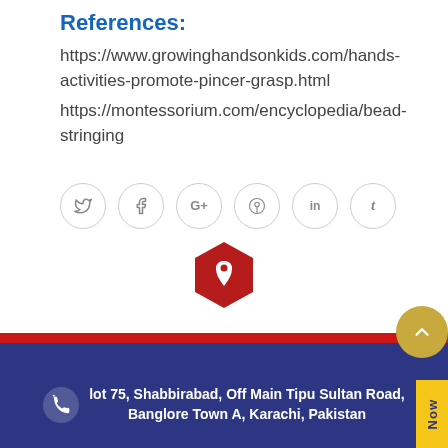References:
https://www.growinghandsonkids.com/hands-activities-promote-pincer-grasp.html
https://montessorium.com/encyclopedia/bead-stringing
[Figure (infographic): Social media share icons in circles: Twitter (bird), Facebook (f), Google+ (G+), Pinterest (pin), LinkedIn (in), Tumblr (t)]
[Figure (infographic): Red hexagon with white map pin/location icon centered above footer]
lot 75, Shabbirabad, Off Main Tipu Sultan Road, Banglore Town A, Karachi, Pakistan